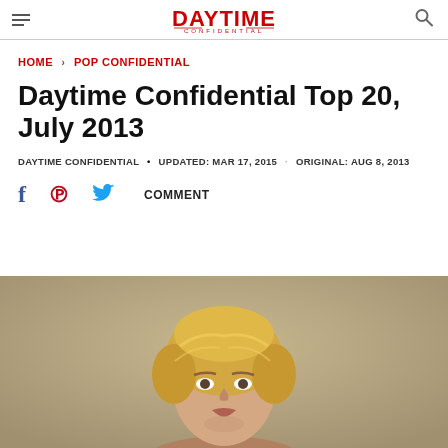DAYTIME CONFIDENTIAL
HOME › POP CONFIDENTIAL
Daytime Confidential Top 20, July 2013
DAYTIME CONFIDENTIAL • UPDATED: MAR 17, 2015 · ORIGINAL: AUG 8, 2013
COMMENT
[Figure (photo): Portrait photo of a woman with short blonde hair against a neutral beige/tan background]